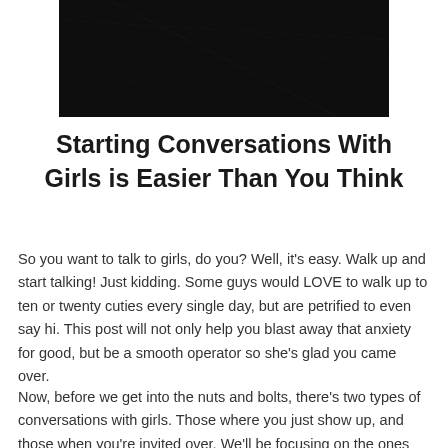[Figure (photo): A dark, nearly black image appearing to show a textured or abstract surface, possibly a night sky or dark fabric with faint patterns.]
Starting Conversations With Girls is Easier Than You Think
So you want to talk to girls, do you? Well, it's easy. Walk up and start talking! Just kidding. Some guys would LOVE to walk up to ten or twenty cuties every single day, but are petrified to even say hi. This post will not only help you blast away that anxiety for good, but be a smooth operator so she's glad you came over.
Now, before we get into the nuts and bolts, there's two types of conversations with girls. Those where you just show up, and those when you're invited over. We'll be focusing on the ones where you get